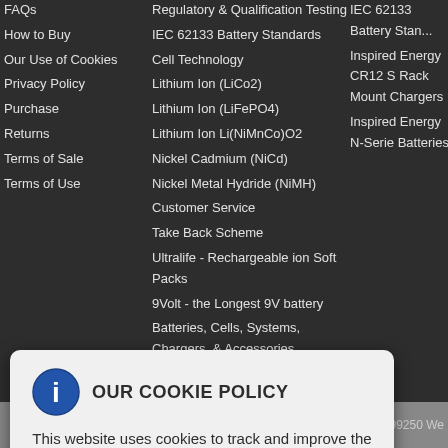FAQs
How to Buy
Our Use of Cookies
Privacy Policy
Purchase
Returns
Terms of Sale
Terms of Use
Regulatory & Qualification Testing
IEC 62133 Battery Standards
Cell Technology
Lithium Ion (LiCo2)
Lithium Ion (LiFePO4)
Lithium Ion Li(NiMnCo)O2
Nickel Cadmium (NiCd)
Nickel Metal Hydride (NiMH)
Customer Service
Take Back Scheme
Ultralife - Rechargeable ion Soft Packs
9Volt - the Longest 9V battery
Batteries, Cells, Systems, Chargers, & Accessories
IEC 62133 Battery Standards
Inspired Energy CR12 S Rack Mount Chargers
Inspired Energy N-Series Batteries
OUR COOKIE POLICY
This website uses cookies to track and improve the visitor experience.

To learn more, please click here.
Accept our cookies?
elp?
99250 We